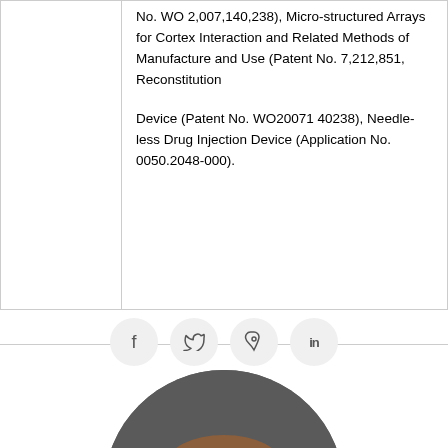No. WO 2,007,140,238), Micro-structured Arrays for Cortex Interaction and Related Methods of Manufacture and Use (Patent No. 7,212,851, Reconstitution
Device (Patent No. WO20071 40238), Needle-less Drug Injection Device (Application No. 0050.2048-000).
[Figure (other): Social media sharing icons row: Facebook (f), Twitter (bird), Pinterest (p), LinkedIn (in) — each inside a light gray circle]
[Figure (photo): Circular cropped portrait photo of a young man with short reddish-brown hair against a dark gray background]